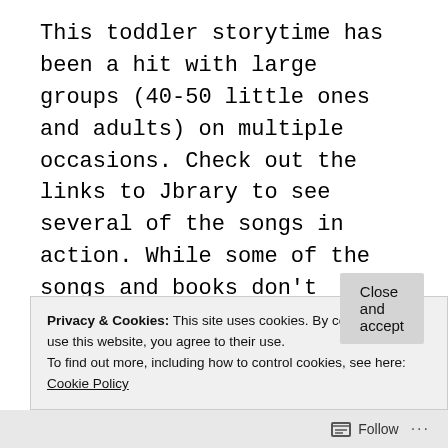This toddler storytime has been a hit with large groups (40-50 little ones and adults) on multiple occasions. Check out the links to Jbrary to see several of the songs in action. While some of the songs and books don't obviously tie into a bathtime theme, you'll see how they all connect together. I find books I want to read and then pull threads from the books- animals, activities, etc.-  to connect with songs and activities I want to include. I know are crowd pleasers
Privacy & Cookies: This site uses cookies. By continuing to use this website, you agree to their use.
To find out more, including how to control cookies, see here: Cookie Policy
Close and accept
Follow